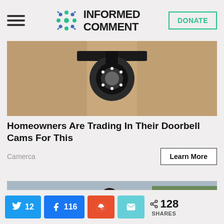INFORMED COMMENT
[Figure (photo): Close-up of a security camera mounted on a wall]
Homeowners Are Trading In Their Doorbell Cams For This
Camerca
[Figure (photo): Young woman smiling outdoors near fencing and trees]
12 (Twitter) 116 (Facebook) Reddit Email < 128 SHARES